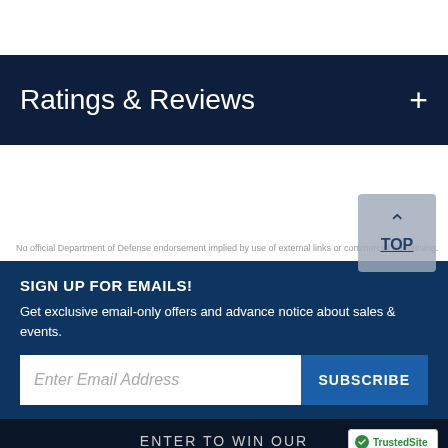Ratings & Reviews
No official Department of Defense endorsement implied by use of external links or commercial advertising.
SIGN UP FOR EMAILS!
Get exclusive email-only offers and advance notice about sales & events.
Enter Email Address
SUBSCRIBE
TOP
ENTER TO WIN OUR
[Figure (logo): TrustedSite CERTIFIED SECURE badge with green checkmark]